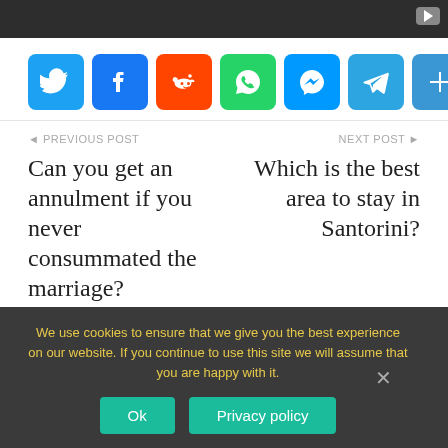[Figure (screenshot): Dark top bar with YouTube play button icon in top-right corner]
[Figure (infographic): Social media share buttons: Twitter (blue bird), Facebook (blue f), Reddit (orange alien), WhatsApp (green phone), Messenger (blue lightning), Telegram (blue paper plane), More (blue plus)]
PREVIOUS POST
Can you get an annulment if you never consummated the marriage?
NEXT POST
Which is the best area to stay in Santorini?
Categories
We use cookies to ensure that we give you the best experience on our website. If you continue to use this site we will assume that you are happy with it.
Ok   Privacy policy